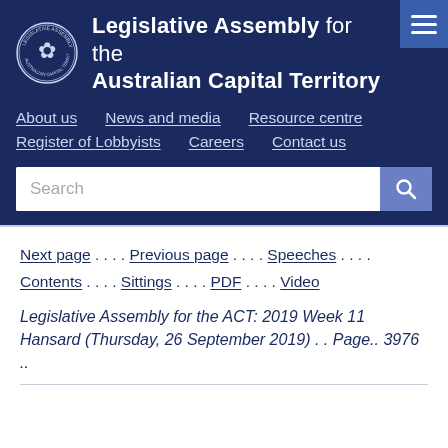Legislative Assembly for the Australian Capital Territory
About us · News and media · Resource centre · Register of Lobbyists · Careers · Contact us
Next page . . . . Previous page . . . . Speeches . . . . Contents . . . . Sittings . . . . PDF . . . . Video
Legislative Assembly for the ACT: 2019 Week 11 Hansard (Thursday, 26 September 2019) . . Page.. 3976 ..